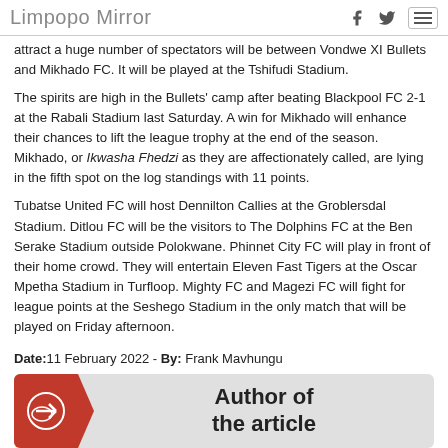Limpopo Mirror
attract a huge number of spectators will be between Vondwe XI Bullets and Mikhado FC. It will be played at the Tshifudi Stadium.
The spirits are high in the Bullets' camp after beating Blackpool FC 2-1 at the Rabali Stadium last Saturday. A win for Mikhado will enhance their chances to lift the league trophy at the end of the season. Mikhado, or Ikwasha Fhedzi as they are affectionately called, are lying in the fifth spot on the log standings with 11 points.
Tubatse United FC will host Dennilton Callies at the Groblersdal Stadium. Ditlou FC will be the visitors to The Dolphins FC at the Ben Serake Stadium outside Polokwane. Phinnet City FC will play in front of their home crowd. They will entertain Eleven Fast Tigers at the Oscar Mpetha Stadium in Turfloop. Mighty FC and Magezi FC will fight for league points at the Seshego Stadium in the only match that will be played on Friday afternoon.
Date: 11 February 2022 - By: Frank Mavhungu
[Figure (illustration): Author of the article banner with red arrow/chevron icon on the left and bold text 'Author of the article' on the right]